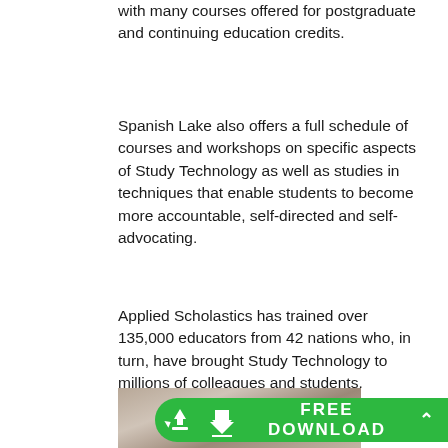with many courses offered for postgraduate and continuing education credits.
Spanish Lake also offers a full schedule of courses and workshops on specific aspects of Study Technology as well as studies in techniques that enable students to become more accountable, self-directed and self-advocating.
Applied Scholastics has trained over 135,000 educators from 42 nations who, in turn, have brought Study Technology to millions of colleagues and students.
[Figure (photo): Photo of students or educators in a classroom/workshop setting, partially visible at bottom of page]